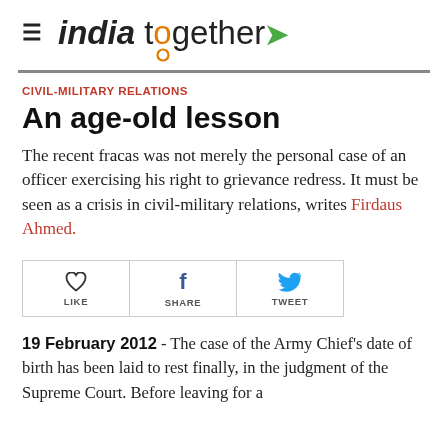india together
CIVIL-MILITARY RELATIONS
An age-old lesson
The recent fracas was not merely the personal case of an officer exercising his right to grievance redress. It must be seen as a crisis in civil-military relations, writes Firdaus Ahmed.
[Figure (infographic): Social sharing buttons: LIKE, SHARE, TWEET]
19 February 2012 - The case of the Army Chief's date of birth has been laid to rest finally, in the judgment of the Supreme Court. Before leaving for a